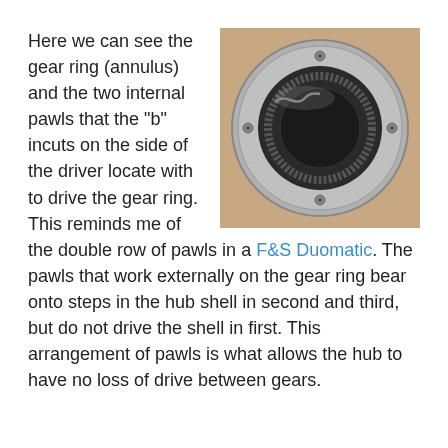Here we can see the gear ring (annulus) and the two internal pawls that the "b" incuts on the side of the driver locate with to drive the gear ring. This reminds me of the double row of pawls in a F&S Duomatic. The pawls that work externally on the gear ring bear onto steps in the hub shell in second and third, but do not drive the shell in first. This arrangement of pawls is what allows the hub to have no loss of drive between gears.
[Figure (photo): Close-up photo of a bicycle hub gear ring (annulus) showing internal pawls, held by a hand. The component is metallic silver with a black internal ring and visible teeth/pawls.]